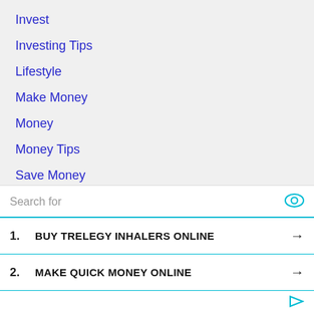Invest
Investing Tips
Lifestyle
Make Money
Money
Money Tips
Save Money
Stocks
Technical
Info
[Figure (screenshot): Advertisement box with search bar and two sponsored results: 1. BUY TRELEGY INHALERS ONLINE, 2. MAKE QUICK MONEY ONLINE]